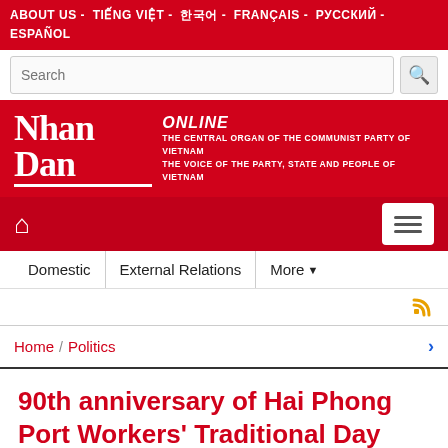ABOUT US - TIẾNG VIỆT - 한국어 - FRANÇAIS - РУССКИЙ - ESPAÑOL
[Figure (logo): Nhan Dan Online logo — white text on red background with taglines: THE CENTRAL ORGAN OF THE COMMUNIST PARTY OF VIETNAM, THE VOICE OF THE PARTY, STATE AND PEOPLE OF VIETNAM]
Domestic | External Relations | More
Home / Politics
90th anniversary of Hai Phong Port Workers' Traditional Day celebrated
Sunday, 2019-12-01 16:50:47    A Font Size: − | + Print